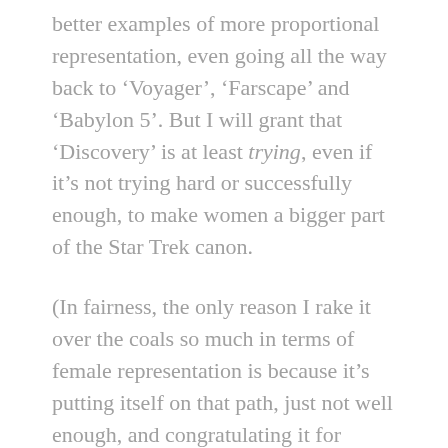better examples of more proportional representation, even going all the way back to ‘Voyager’, ‘Farscape’ and ‘Babylon 5’. But I will grant that ‘Discovery’ is at least trying, even if it’s not trying hard or successfully enough, to make women a bigger part of the Star Trek canon.
(In fairness, the only reason I rake it over the coals so much in terms of female representation is because it’s putting itself on that path, just not well enough, and congratulating it for tokenism would be wrong.)